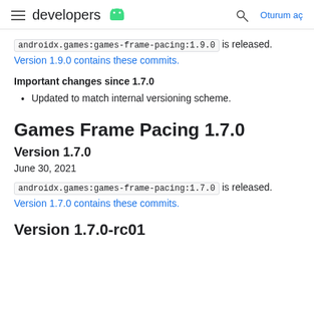developers [android logo] | [search] Oturum aç
androidx.games:games-frame-pacing:1.9.0 is released. Version 1.9.0 contains these commits.
Important changes since 1.7.0
Updated to match internal versioning scheme.
Games Frame Pacing 1.7.0
Version 1.7.0
June 30, 2021
androidx.games:games-frame-pacing:1.7.0 is released. Version 1.7.0 contains these commits.
Version 1.7.0-rc01